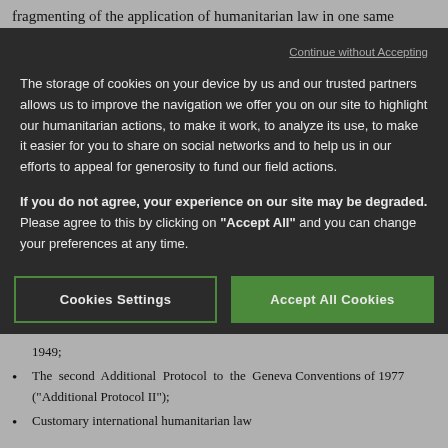fragmenting of the application of humanitarian law in one same
Continue without Accepting
The storage of cookies on your device by us and our trusted partners allows us to improve the navigation we offer you on our site to highlight our humanitarian actions, to make it work, to analyze its use, to make it easier for you to share on social networks and to help us in our efforts to appeal for generosity to fund our field actions.
If you do not agree, your experience on our site may be degraded. Please agree to this by clicking on "Accept All" and you can change your preferences at any time.
Cookies Settings
Accept All Cookies
1949;
The second Additional Protocol to the Geneva Conventions of 1977 (“Additional Protocol II”);
Customary international humanitarian law